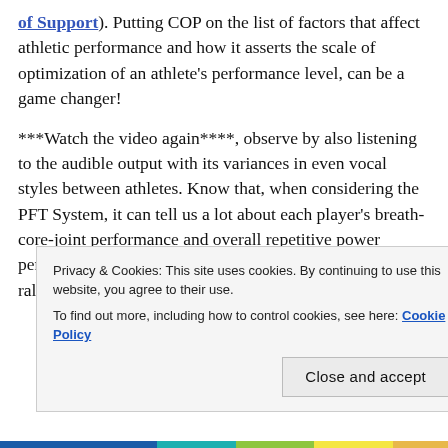of Support). Putting COP on the list of factors that affect athletic performance and how it asserts the scale of optimization of an athlete's performance level, can be a game changer!
***Watch the video again****, observe by also listening to the audible output with its variances in even vocal styles between athletes. Know that, when considering the PFT System, it can tell us a lot about each player's breath-core-joint performance and overall repetitive power performance. But also pay attention in this specific long rally, to how the characteristics of each
Privacy & Cookies: This site uses cookies. By continuing to use this website, you agree to their use.
To find out more, including how to control cookies, see here: Cookie Policy